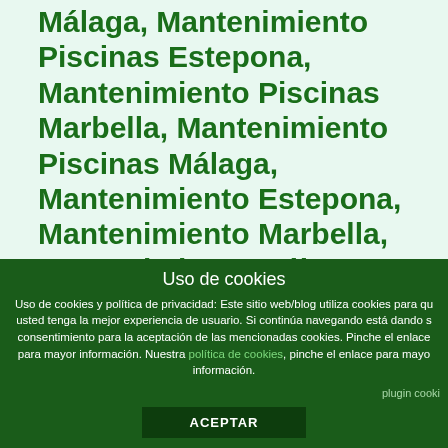Málaga, Mantenimiento Piscinas Estepona, Mantenimiento Piscinas Marbella, Mantenimiento Piscinas Málaga, Mantenimiento Estepona, Mantenimiento Marbella, Mantenimiento Málaga, Mantenimiento Jardines Marbella, Mantenimiento Jardines Estepona, Mantenimiento Jardines Sotogrande. Mantenimiento de jardines y piscinas Marbella, Mantenimiento de Jardines y Piscinas...
Uso de cookies
Uso de cookies y política de privacidad: Este sitio web/blog utiliza cookies para que usted tenga la mejor experiencia de usuario. Si continúa navegando está dando su consentimiento para la aceptación de las mencionadas cookies. Pinche el enlace para mayor información. Nuestra política de cookies, pinche el enlace para mayor información.
plugin cooki
ACEPTAR